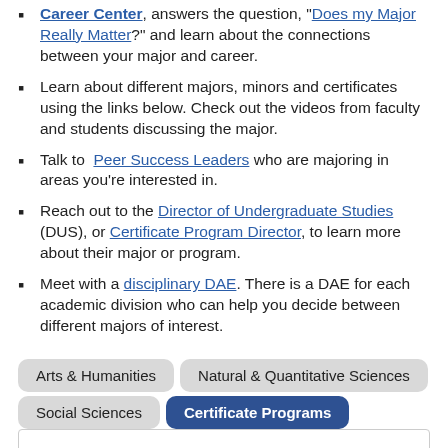Career Center, answers the question, "Does my Major Really Matter?" and learn about the connections between your major and career.
Learn about different majors, minors and certificates using the links below. Check out the videos from faculty and students discussing the major.
Talk to Peer Success Leaders who are majoring in areas you're interested in.
Reach out to the Director of Undergraduate Studies (DUS), or Certificate Program Director, to learn more about their major or program.
Meet with a disciplinary DAE. There is a DAE for each academic division who can help you decide between different majors of interest.
Tabs: Arts & Humanities, Natural & Quantitative Sciences, Social Sciences, Certificate Programs (active)
Certificate programs offer students an opportunity to pursue a subject they are